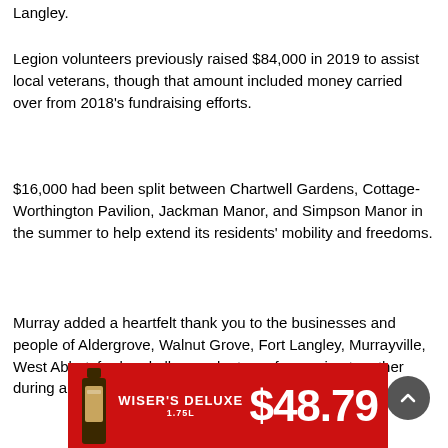Langley.
Legion volunteers previously raised $84,000 in 2019 to assist local veterans, though that amount included money carried over from 2018's fundraising efforts.
$16,000 had been split between Chartwell Gardens, Cottage-Worthington Pavilion, Jackman Manor, and Simpson Manor in the summer to help extend its residents' mobility and freedoms.
Murray added a heartfelt thank you to the businesses and people of Aldergrove, Walnut Grove, Fort Langley, Murrayville, West Abbotsford and all our volunteers for coming together during a difficult year.
[Figure (infographic): Red advertisement banner for Wiser's Deluxe 1.75L whisky showing bottle and price $48.79]